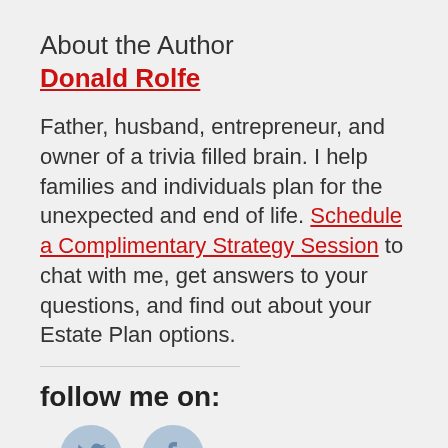About the Author
Donald Rolfe
Father, husband, entrepreneur, and owner of a trivia filled brain. I help families and individuals plan for the unexpected and end of life. Schedule a Complimentary Strategy Session to chat with me, get answers to your questions, and find out about your Estate Plan options.
follow me on:
[Figure (other): Twitter bird icon in a light blue circle with red underline bar]